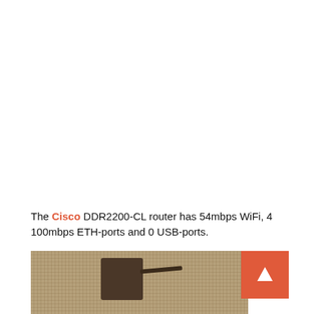The Cisco DDR2200-CL router has 54mbps WiFi, 4 100mbps ETH-ports and 0 USB-ports.
[Figure (photo): Photo of a Cisco DDR2200-CL router on a woven fabric background, showing antenna]